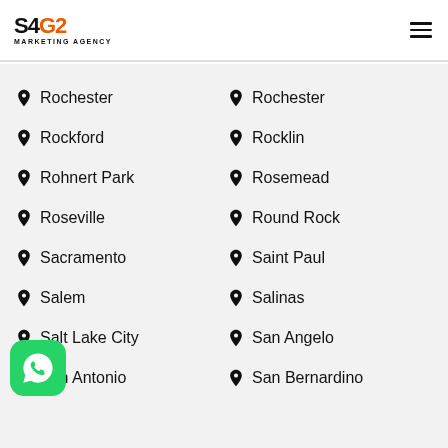[Figure (logo): S4G2 Marketing Agency logo with black S4 and orange G2 text, MARKETING AGENCY subtitle]
Rochester
Rochester
Rockford
Rocklin
Rohnert Park
Rosemead
Roseville
Round Rock
Sacramento
Saint Paul
Salem
Salinas
Salt Lake City
San Angelo
San Antonio
San Bernardino